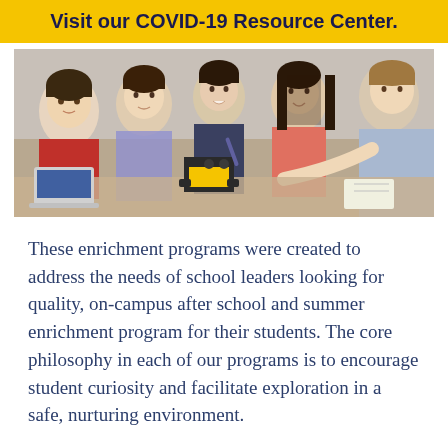Visit our COVID-19 Resource Center.
[Figure (photo): Children and a teacher gathered around a small robot/engineering project on a classroom desk. Students appear to be elementary school age, with one teacher pointing at the robot.]
These enrichment programs were created to address the needs of school leaders looking for quality, on-campus after school and summer enrichment program for their students. The core philosophy in each of our programs is to encourage student curiosity and facilitate exploration in a safe, nurturing environment.